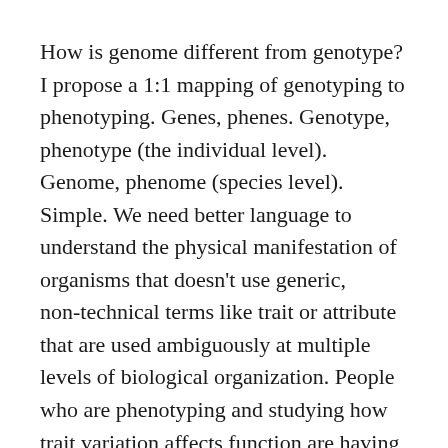How is genome different from genotype? I propose a 1:1 mapping of genotyping to phenotyping. Genes, phenes. Genotype, phenotype (the individual level). Genome, phenome (species level). Simple. We need better language to understand the physical manifestation of organisms that doesn't use generic, non-technical terms like trait or attribute that are used ambiguously at multiple levels of biological organization. People who are phenotyping and studying how trait variation affects function are having problems due to the lack of a conceptual framework to advance their field. Researchers in a gene first program may not realize that.